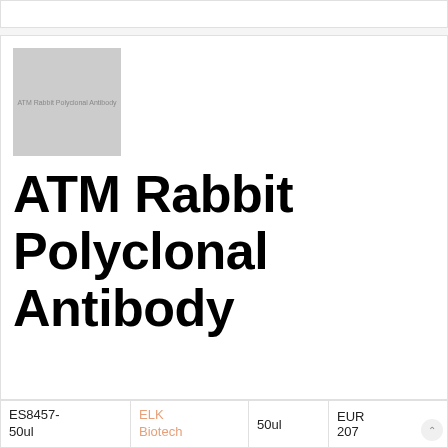[Figure (photo): Gray placeholder image with text 'ATM Rabbit Polyclonal Antibody']
ATM Rabbit Polyclonal Antibody
| Product ID | Supplier | Volume | Price |
| --- | --- | --- | --- |
| ES8457-50ul | ELK Biotech | 50ul | EUR 207 |